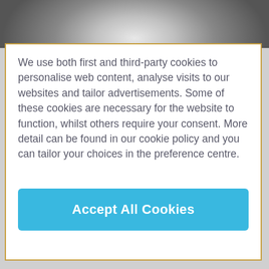[Figure (photo): Partial view of a person's head/hair in black and white, cropped at the top of the page]
We use both first and third-party cookies to personalise web content, analyse visits to our websites and tailor advertisements. Some of these cookies are necessary for the website to function, whilst others require your consent. More detail can be found in our cookie policy and you can tailor your choices in the preference centre.
Accept All Cookies